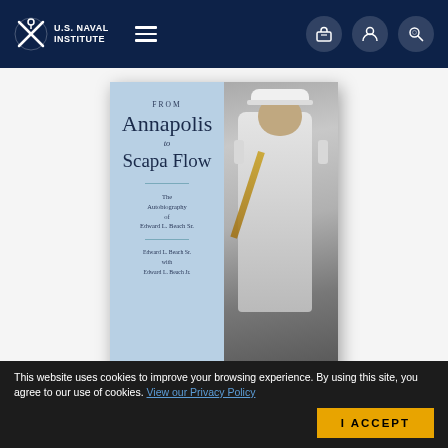U.S. Naval Institute
[Figure (photo): Book cover of 'From Annapolis to Scapa Flow: The Autobiography of Edward L. Beach Sr.' showing a naval officer in white uniform on the right half and the book title on a light blue background on the left half.]
From Annapolis to Scapa Flow
The Autobiography of Edward L. Beach Sr.
This website uses cookies to improve your browsing experience. By using this site, you agree to our use of cookies. View our Privacy Policy
I ACCEPT